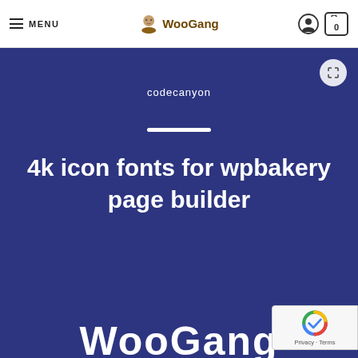MENU | WooGang | 0
[Figure (screenshot): WooGang e-commerce website screenshot showing navigation bar with hamburger menu (MENU), WooGang logo with character icon, account icon, and cart with 0 items. Below is a dark blue hero section displaying 'codecanyon' subtitle, a horizontal white divider, and bold white heading '4k icon fonts for wpbakery page builder'. The bottom partially shows 'WooGang' logo text and a reCAPTCHA badge in the bottom right corner. An expand/fullscreen button appears in the top right of the hero section.]